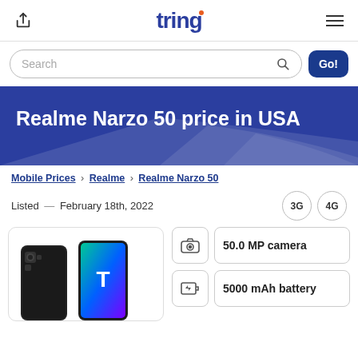tring
Search
Realme Narzo 50 price in USA
Mobile Prices > Realme > Realme Narzo 50
Listed — February 18th, 2022    3G  4G
[Figure (photo): Photo of Realme Narzo 50 smartphone]
50.0 MP camera
5000 mAh battery